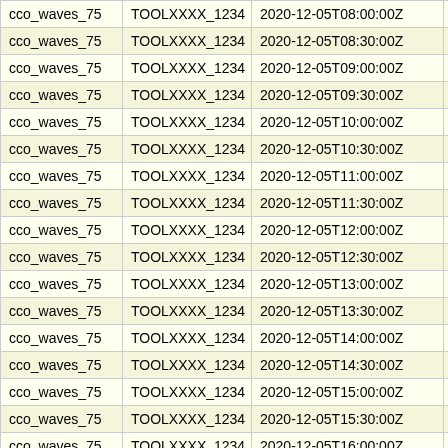| cco_waves_75 | TOOLXXXX_1234 | 2020-12-05T08:00:00Z | 50.1 |
| cco_waves_75 | TOOLXXXX_1234 | 2020-12-05T08:30:00Z | 50.1 |
| cco_waves_75 | TOOLXXXX_1234 | 2020-12-05T09:00:00Z | 50.11 |
| cco_waves_75 | TOOLXXXX_1234 | 2020-12-05T09:30:00Z | 50.11 |
| cco_waves_75 | TOOLXXXX_1234 | 2020-12-05T10:00:00Z | 50.11 |
| cco_waves_75 | TOOLXXXX_1234 | 2020-12-05T10:30:00Z | 50.1 |
| cco_waves_75 | TOOLXXXX_1234 | 2020-12-05T11:00:00Z | 50.11 |
| cco_waves_75 | TOOLXXXX_1234 | 2020-12-05T11:30:00Z | 50.1 |
| cco_waves_75 | TOOLXXXX_1234 | 2020-12-05T12:00:00Z | 50.11 |
| cco_waves_75 | TOOLXXXX_1234 | 2020-12-05T12:30:00Z | 50 |
| cco_waves_75 | TOOLXXXX_1234 | 2020-12-05T13:00:00Z | 50.11 |
| cco_waves_75 | TOOLXXXX_1234 | 2020-12-05T13:30:00Z | 50.11 |
| cco_waves_75 | TOOLXXXX_1234 | 2020-12-05T14:00:00Z | 50.11 |
| cco_waves_75 | TOOLXXXX_1234 | 2020-12-05T14:30:00Z | 50.11 |
| cco_waves_75 | TOOLXXXX_1234 | 2020-12-05T15:00:00Z | 50.11 |
| cco_waves_75 | TOOLXXXX_1234 | 2020-12-05T15:30:00Z | 50.11 |
| cco_waves_75 | TOOLXXXX_1234 | 2020-12-05T16:00:00Z | 50.11 |
| cco_waves_75 | TOOLXXXX_1234 | 2020-12-05T16:30:00Z | 50.11 |
| cco_waves_75 | TOOLXXXX_1234 | 2020-12-05T17:00:00Z | 50.11 |
| cco_waves_75 | TOOLXXXX_1234 | 2020-12-05T17:30:00Z | 50.11 |